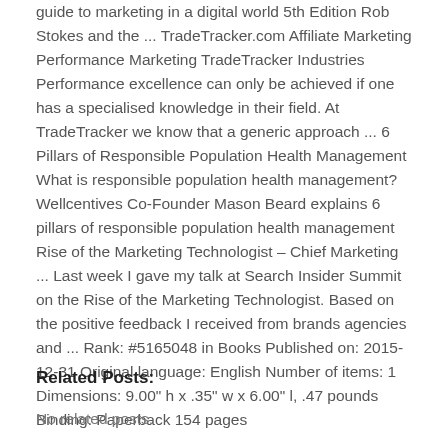guide to marketing in a digital world 5th Edition Rob Stokes and the ... TradeTracker.com Affiliate Marketing Performance Marketing TradeTracker Industries Performance excellence can only be achieved if one has a specialised knowledge in their field. At TradeTracker we know that a generic approach ... 6 Pillars of Responsible Population Health Management What is responsible population health management? Wellcentives Co-Founder Mason Beard explains 6 pillars of responsible population health management Rise of the Marketing Technologist – Chief Marketing ... Last week I gave my talk at Search Insider Summit on the Rise of the Marketing Technologist. Based on the positive feedback I received from brands agencies and ... Rank: #5165048 in Books Published on: 2015-12-31 Original language: English Number of items: 1 Dimensions: 9.00" h x .35" w x 6.00" l, .47 pounds Binding: Paperback 154 pages
Related Posts:
No related posts.